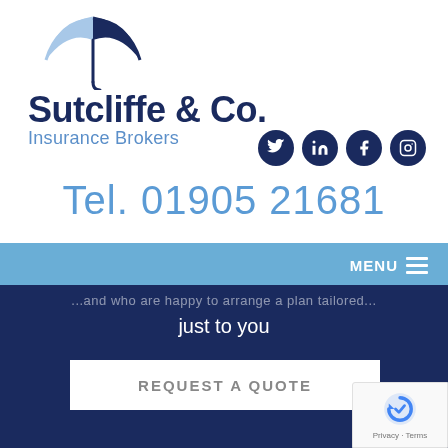[Figure (logo): Sutcliffe & Co. Insurance Brokers logo with blue umbrella icon above the company name]
[Figure (illustration): Four social media icons (Twitter, LinkedIn, Facebook, Instagram) in dark navy circles]
Tel. 01905 21681
MENU
...and who are happy to arrange a plan tailored just to you
REQUEST A QUOTE
[Figure (logo): Google reCAPTCHA badge with Privacy - Terms text]